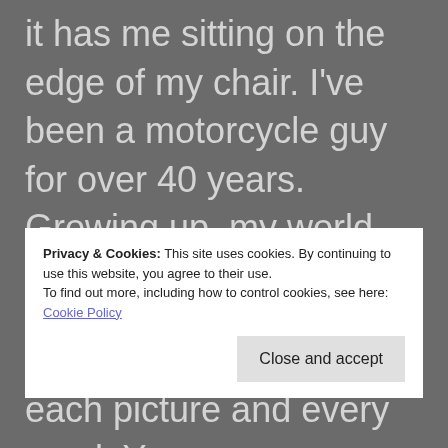it has me sitting on the edge of my chair. I've been a motorcycle guy for over 40 years. Growing up, my world revolved around everything I could get my hands on that could give me any information to what was going on out in the world of motorcycling.
Privacy & Cookies: This site uses cookies. By continuing to use this website, you agree to their use.
To find out more, including how to control cookies, see here: Cookie Policy
Close and accept
each picture and every word. Yes, as